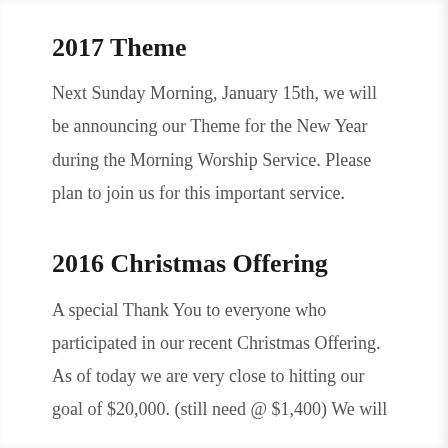2017 Theme
Next Sunday Morning, January 15th, we will be announcing our Theme for the New Year during the Morning Worship Service. Please plan to join us for this important service.
2016 Christmas Offering
A special Thank You to everyone who participated in our recent Christmas Offering. As of today we are very close to hitting our goal of $20,000. (still need @ $1,400) We will